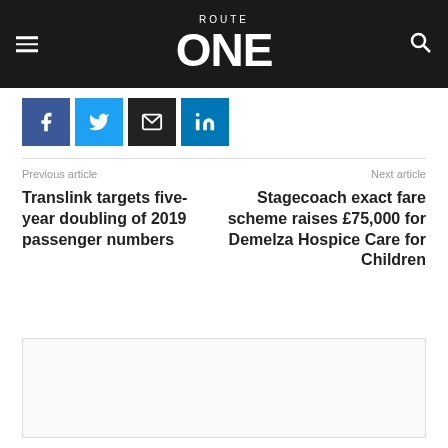ROUTE ONE
[Figure (other): Social media sharing buttons: Facebook, Twitter, Email, LinkedIn]
Previous article
Next article
Translink targets five-year doubling of 2019 passenger numbers
Stagecoach exact fare scheme raises £75,000 for Demelza Hospice Care for Children
[Figure (other): Advertisement placeholder box]